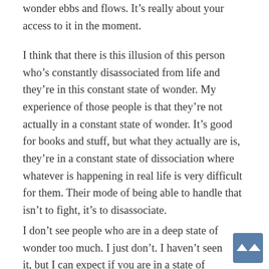wonder ebbs and flows. It's really about your access to it in the moment.
I think that there is this illusion of this person who's constantly disassociated from life and they're in this constant state of wonder. My experience of those people is that they're not actually in a constant state of wonder. It's good for books and stuff, but what they actually are is, they're in a constant state of dissociation where whatever is happening in real life is very difficult for them. Their mode of being able to handle that isn't to fight, it's to disassociate.
I don't see people who are in a deep state of wonder too much. I just don't. I haven't seen it, but I can expect if you are in a state of wonder so much that you have stopped doing stuff, that obviously would go too far.